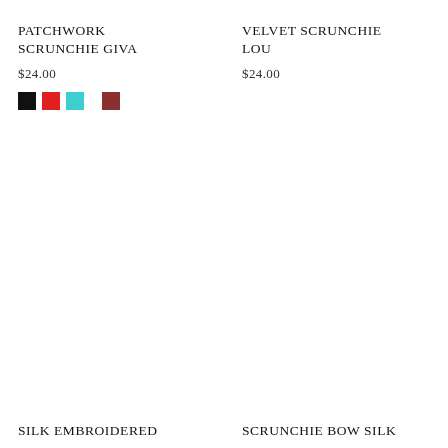PATCHWORK SCRUNCHIE GIVA
$24.00
[Figure (infographic): Four color swatches: black, red, teal/turquoise, dark red/mauve]
VELVET SCRUNCHIE LOU
$24.00
SILK EMBROIDERED
SCRUNCHIE BOW SILK